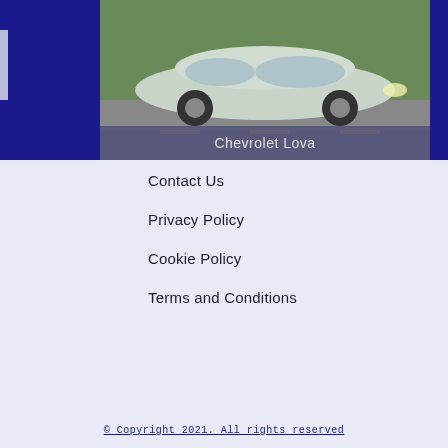[Figure (photo): Photo of a Chevrolet Lova car with a label bar at the bottom reading 'Chevrolet Lova'. The car is silver/white, photographed from the side-front angle on a road. The top section background is dark navy blue.]
Chevrolet Lova
Contact Us
Privacy Policy
Cookie Policy
Terms and Conditions
© Copyright 2021. All rights reserved